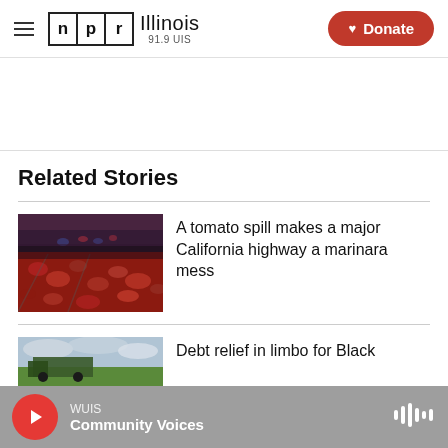NPR Illinois 91.9 UIS — Donate
Related Stories
[Figure (photo): A highway covered in red tomatoes spilled from a truck, with emergency vehicle lights visible in the background at dusk.]
A tomato spill makes a major California highway a marinara mess
[Figure (photo): Partial view of a story thumbnail showing a field or outdoor scene.]
Debt relief in limbo for Black
WUIS — Community Voices